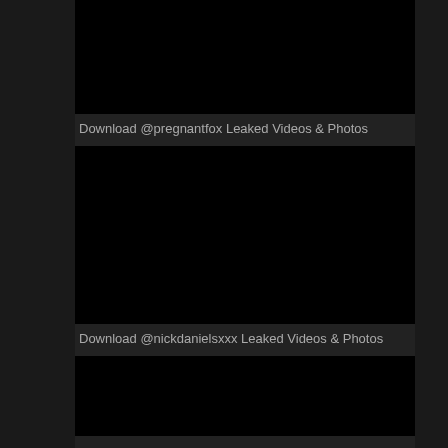[Figure (other): Black rectangular image placeholder at top]
Download @pregnantfox Leaked Videos & Photos
[Figure (other): Black rectangular image placeholder in middle]
Download @nickdanielsxxx Leaked Videos & Photos
[Figure (other): Black rectangular image placeholder at bottom]